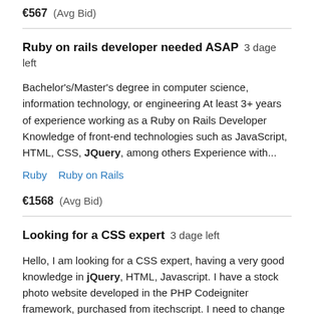€567  (Avg Bid)
Ruby on rails developer needed ASAP  3 dage left
Bachelor's/Master's degree in computer science, information technology, or engineering At least 3+ years of experience working as a Ruby on Rails Developer Knowledge of front-end technologies such as JavaScript, HTML, CSS, JQuery, among others Experience with...
Ruby  Ruby on Rails
€1568  (Avg Bid)
Looking for a CSS expert  3 dage left
Hello, I am looking for a CSS expert, having a very good knowledge in jQuery, HTML, Javascript. I have a stock photo website developed in the PHP Codeigniter framework, purchased from itechscript. I need to change